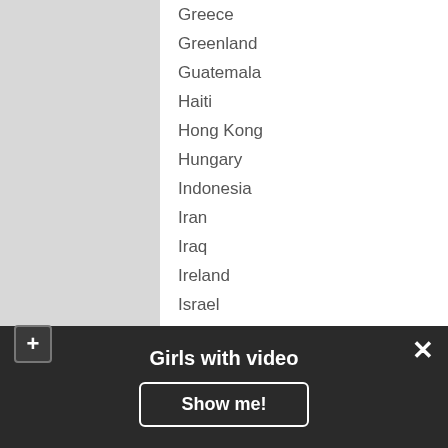Greece
Greenland
Guatemala
Haiti
Hong Kong
Hungary
Indonesia
Iran
Iraq
Ireland
Israel
Italy
Japan
Jordan
Kazakhstan
Kyrgyzstan
Latvia
Lebanon
Girls with video
Show me!